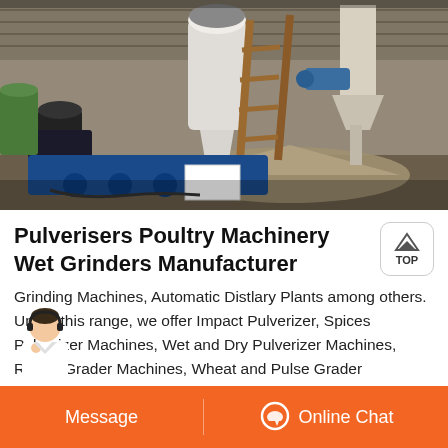[Figure (photo): Industrial pulveriser machinery in a factory setting. Shows blue metal base machine with cylindrical separator/cyclone units, a wooden ladder, conical hopper, and pile of ground material on floor.]
Pulverisers Poultry Machinery Wet Grinders Manufacturer
Grinding Machines, Automatic Distlary Plants among others. Under this range, we offer Impact Pulverizer, Spices Pulverizer Machines, Wet and Dry Pulverizer Machines, Round Grader Machines, Wheat and Pulse Grader Machines, Decorticator Machines and lot more. These products are available under the brand name Swastik .